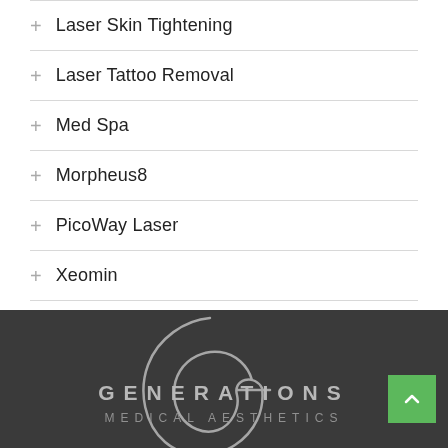Laser Skin Tightening
Laser Tattoo Removal
Med Spa
Morpheus8
PicoWay Laser
Xeomin
[Figure (logo): Generations Medical Aesthetics logo with stylized cursive G overlay on dark grey footer background, with green back-to-top button in bottom right corner]